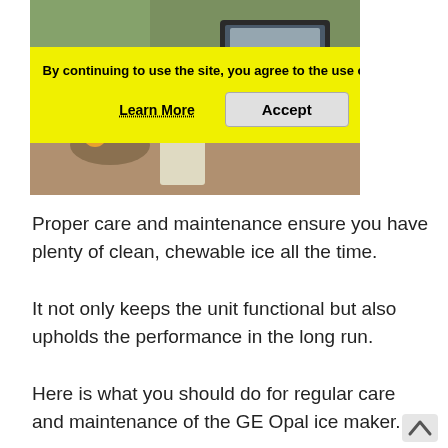[Figure (photo): Photo of a GE Opal ice maker on a countertop with fruits and beverages nearby, partially obscured by a cookie consent banner]
By continuing to use the site, you agree to the use of cookies.
Learn More    Accept
Proper care and maintenance ensure you have plenty of clean, chewable ice all the time.
It not only keeps the unit functional but also upholds the performance in the long run.
Here is what you should do for regular care and maintenance of the GE Opal ice maker.